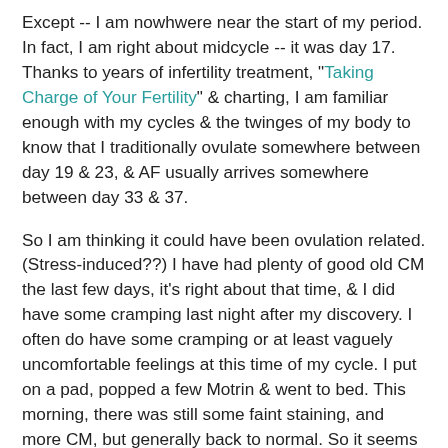Except -- I am nowhwere near the start of my period. In fact, I am right about midcycle -- it was day 17. Thanks to years of infertility treatment, "Taking Charge of Your Fertility" & charting, I am familiar enough with my cycles & the twinges of my body to know that I traditionally ovulate somewhere between day 19 & 23, & AF usually arrives somewhere between day 33 & 37.
So I am thinking it could have been ovulation related. (Stress-induced??) I have had plenty of good old CM the last few days, it's right about that time, & I did have some cramping last night after my discovery. I often do have some cramping or at least vaguely uncomfortable feelings at this time of my cycle. I put on a pad, popped a few Motrin & went to bed. This morning, there was still some faint staining, and more CM, but generally back to normal. So it seems to have been just that one brief gush.
I called my ob-gyn's office, at one of the top hospitals in the city. He is an extremely busy man, so I wasn't surprised when his receptionist told me that if it was just one day one time midcycle, it was nothing to worry about & nothing they